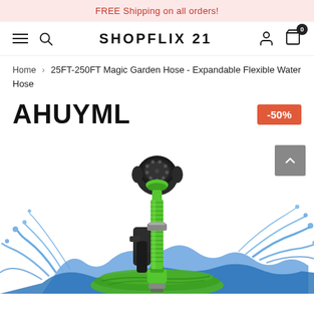FREE Shipping on all orders!
SHOPFLIX 21
Home > 25FT-250FT Magic Garden Hose - Expandable Flexible Water Hose
AHUYML
-50%
[Figure (photo): Green expandable garden hose spray nozzle held vertically with water splash effect on a white background]